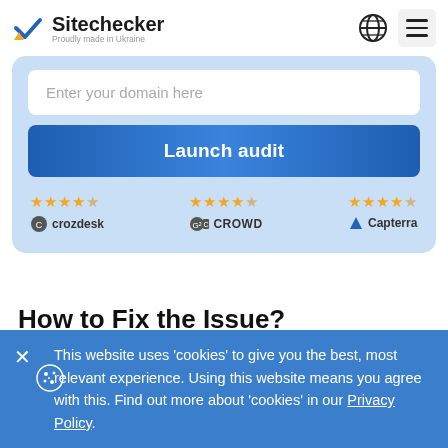Sitechecker — Proudly made in Ukraine
[Figure (screenshot): Sitechecker website UI showing domain input field, Launch audit button, and ratings from Crozdesk, G2 Crowd, and Capterra]
How to Fix the Issue?
Find invalid language code and update it. For example, "en-uk" is the code for the United Kingdom. It must be "en-gb" instead.
This website uses 'cookies' to give you the best, most relevant experience. Using this website means you agree with this. Find out more about 'cookies' in our Privacy Policy.